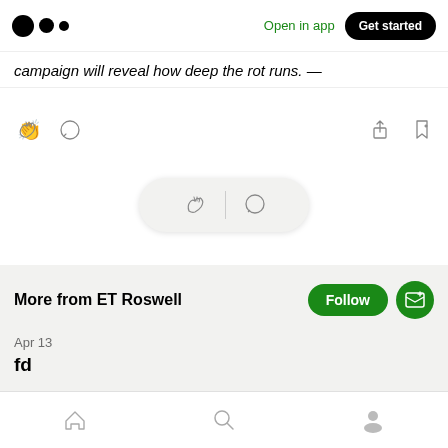Medium logo | Open in app | Get started
campaign will reveal how deep the rot runs. —
[Figure (screenshot): Article action icons: clap, comment, share, bookmark-add]
[Figure (screenshot): Floating pill with clap and comment icons]
More from ET Roswell
Apr 13
fd
Home | Search | Profile bottom navigation bar